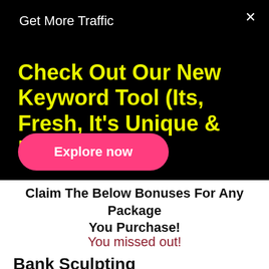Get More Traffic
Check Out Our New Keyword Tool (Its, Fresh, It's Unique & It's Free)
Explore now
Claim The Below Bonuses For Any Package You Purchase!
You missed out!
Bank Sculpting